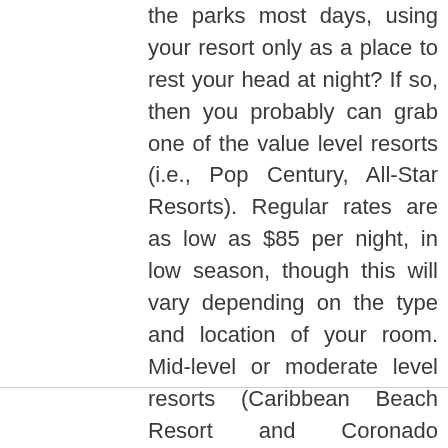the parks most days, using your resort only as a place to rest your head at night? If so, then you probably can grab one of the value level resorts (i.e., Pop Century, All-Star Resorts). Regular rates are as low as $85 per night, in low season, though this will vary depending on the type and location of your room. Mid-level or moderate level resorts (Caribbean Beach Resort and Coronado Springs, among others) are closer to $175 a night, and making the jump up to deluxe level resorts such as Animal Kingdom Lodge and the Contemporary Resort will set you back $400-$600 a night.